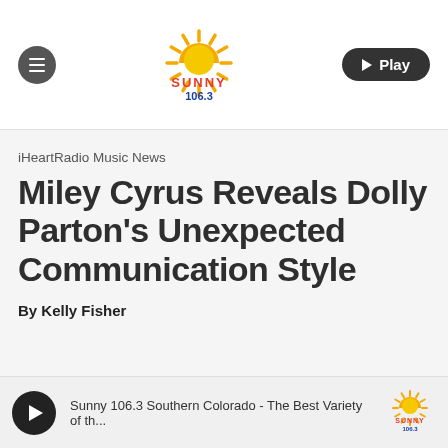[Figure (logo): Sunny 106.3 radio station logo with sun icon]
iHeartRadio Music News
Miley Cyrus Reveals Dolly Parton's Unexpected Communication Style
By Kelly Fisher
Sunny 106.3 Southern Colorado - The Best Variety of th...